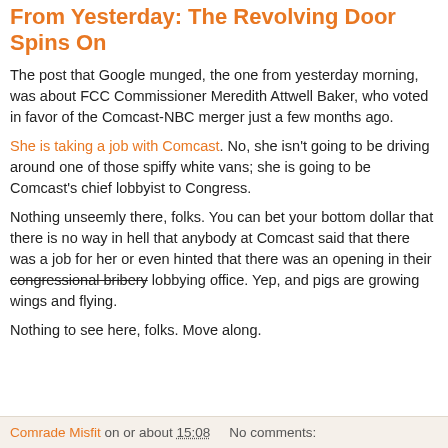From Yesterday: The Revolving Door Spins On
The post that Google munged, the one from yesterday morning, was about FCC Commissioner Meredith Attwell Baker, who voted in favor of the Comcast-NBC merger just a few months ago.
She is taking a job with Comcast. No, she isn't going to be driving around one of those spiffy white vans; she is going to be Comcast's chief lobbyist to Congress.
Nothing unseemly there, folks. You can bet your bottom dollar that there is no way in hell that anybody at Comcast said that there was a job for her or even hinted that there was an opening in their congressional bribery lobbying office. Yep, and pigs are growing wings and flying.
Nothing to see here, folks. Move along.
Comrade Misfit on or about 15:08    No comments: